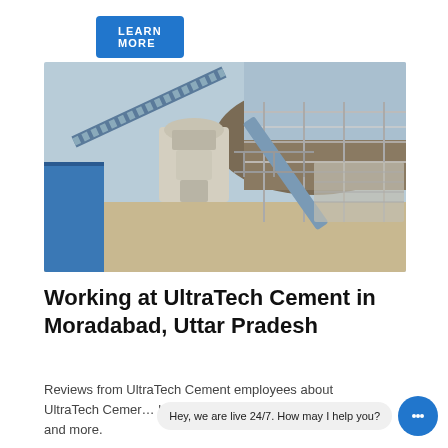LEARN MORE
[Figure (photo): Industrial cement plant machinery showing conveyor belts, a vertical shaft impactor crusher, metal scaffolding and staircases, a blue metal shed on the left, and a large earthen hill in the background under a clear sky.]
Working at UltraTech Cement in Moradabad, Uttar Pradesh
Reviews from UltraTech Cement employees about UltraTech Cement… balance, management, job security, and more.
Hey, we are live 24/7. How may I help you?